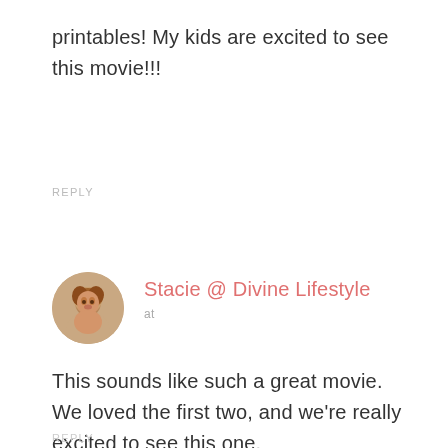printables! My kids are excited to see this movie!!!
REPLY
Stacie @ Divine Lifestyle
at
This sounds like such a great movie. We loved the first two, and we're really excited to see this one.
REPLY